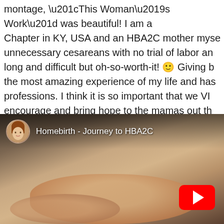montage, “This Woman’s Work” was beautiful! I am a Chapter in KY, USA and an HBA2C mother myself. After unnecessary cesareans with no trial of labor and long and difficult but oh-so-worth-it! 🙂 Giving b the most amazing experience of my life and has professions. I think it is so important that we V encourage and bring hope to the mamas out th fighting for it.
[Figure (screenshot): YouTube video thumbnail showing 'Homebirth - Journey to HBA2C' with a circular avatar of a woman in the top-left corner, video title text, and a red YouTube play button in the lower-right. The thumbnail shows a close-up of what appears to be a newborn baby.]